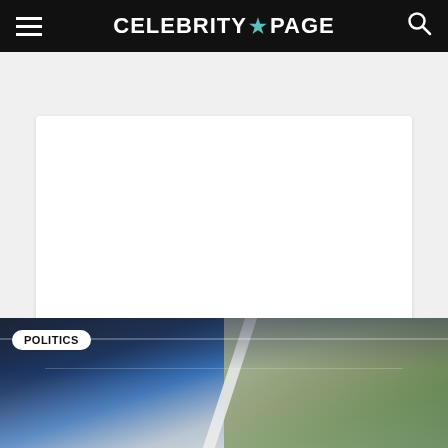CELEBRITY PAGE
[Figure (other): White blank content card area, placeholder for article content]
[Figure (photo): Interior atrium or convention center photo with POLITICS category badge overlaid in top-left corner]